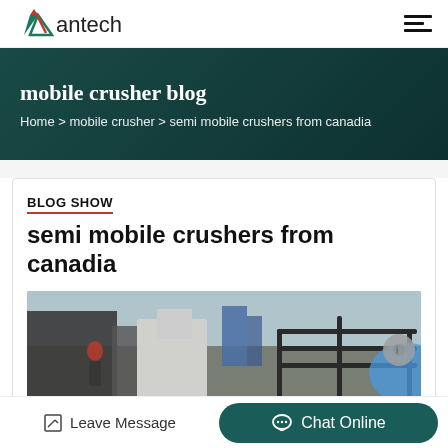antech
mobile crusher blog
Home > mobile crusher > semi mobile crushers from canadia
BLOG SHOW
semi mobile crushers from canadia
[Figure (photo): Industrial machinery / crusher equipment in a factory setting]
Leave Message
Chat Online